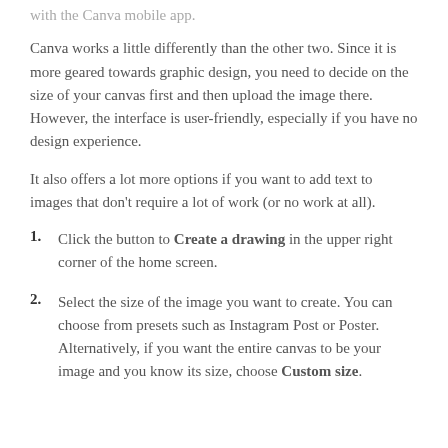with the Canva mobile app.
Canva works a little differently than the other two. Since it is more geared towards graphic design, you need to decide on the size of your canvas first and then upload the image there. However, the interface is user-friendly, especially if you have no design experience.
It also offers a lot more options if you want to add text to images that don't require a lot of work (or no work at all).
Click the button to Create a drawing in the upper right corner of the home screen.
Select the size of the image you want to create. You can choose from presets such as Instagram Post or Poster. Alternatively, if you want the entire canvas to be your image and you know its size, choose Custom size.